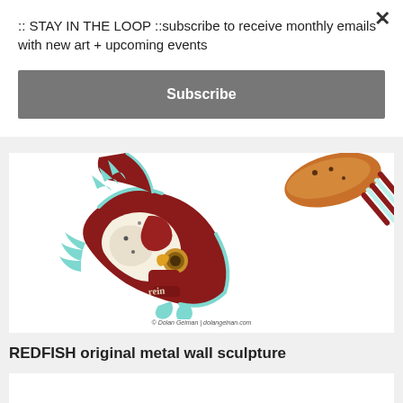:: STAY IN THE LOOP ::subscribe to receive monthly emails with new art + upcoming events
Subscribe
[Figure (photo): Colorful REDFISH original metal wall sculpture by Dolan Geiman, featuring red, turquoise, gold and cream patterned fish shapes against white background. Copyright watermark reads '© Dolan Geiman | dolangeinan.com']
© Dolan Geiman | dolangeinan.com
REDFISH original metal wall sculpture